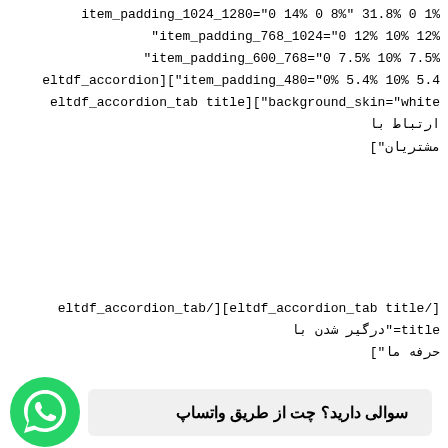item_padding_1024_1280="0 14% 0 8%" 31.8% 0 1% item_padding_768_1024="0 12% 10% 12%" item_padding_600_768="0 7.5% 10% 7.5%" eltdf_accordion]["item_padding_480="0% 5.4% 10% 5.4 eltdf_accordion_tab title]["background_skin="white ارتباط با مشتریان"]
[/eltdf_accordion_tab title][eltdf_accordion_tab/ title="درگیر شدن با حرفه ما"]
سوالی دارید؟ چت از طریق واتساپ